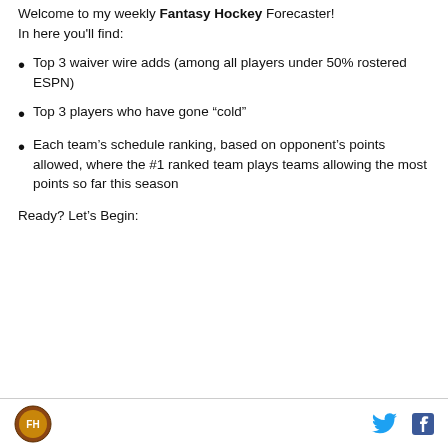Welcome to my weekly Fantasy Hockey Forecaster! In here you'll find:
Top 3 waiver wire adds (among all players under 50% rostered ESPN)
Top 3 players who have gone “cold”
Each team’s schedule ranking, based on opponent’s points allowed, where the #1 ranked team plays teams allowing the most points so far this season
Ready? Let’s Begin:
[logo] [twitter icon] [facebook icon]